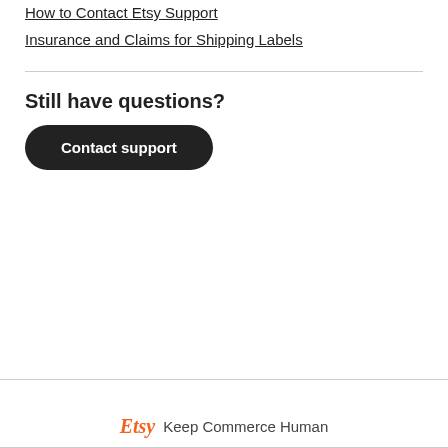How to Contact Etsy Support
Insurance and Claims for Shipping Labels
Still have questions?
Contact support
Etsy  Keep Commerce Human